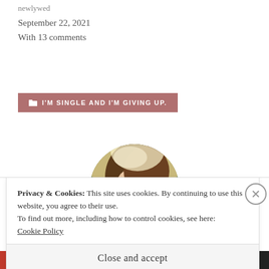newlywed
September 22, 2021
With 13 comments
I'M SINGLE AND I'M GIVING UP.
[Figure (photo): Circular cropped photo of a woman kissing a baby, with soft warm lighting and outdoor background]
Privacy & Cookies: This site uses cookies. By continuing to use this website, you agree to their use.
To find out more, including how to control cookies, see here:
Cookie Policy
Close and accept